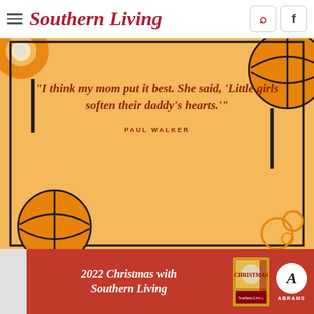Southern Living
[Figure (illustration): Quote card with orange background and basketball decorations. Bold serif italic quote text in dark red/maroon: '"I think my mom put it best. She said, ‘Little girls soften their daddy’s hearts.’"' with attribution 'PAUL WALKER' below.]
[Figure (infographic): Advertisement banner for '2022 Christmas with Southern Living' book by Abrams, with red background, book cover image, and Abrams publisher logo.]